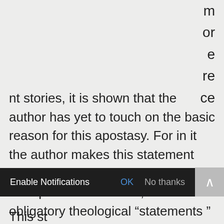m
or
e
re
ce
nt stories, it is shown that the author has yet to touch on the basic reason for this apostasy. For in it the author makes this statement about the churches that he believes are apostate. He wrote, “Yet their obligatory theological “statements ” remained within the bounds of biblical orthodoxy while the political rhetoric is also presented in a twisted biblical
This statement is possibly flawed. By